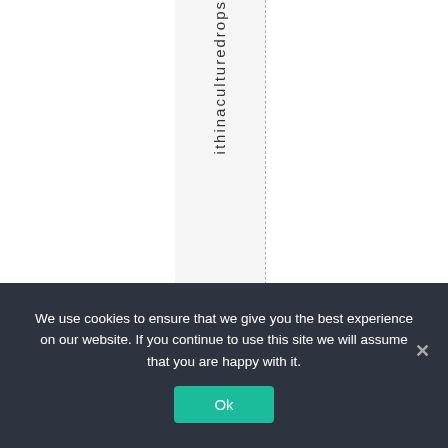ithinaculturedrops
We use cookies to ensure that we give you the best experience on our website. If you continue to use this site we will assume that you are happy with it.